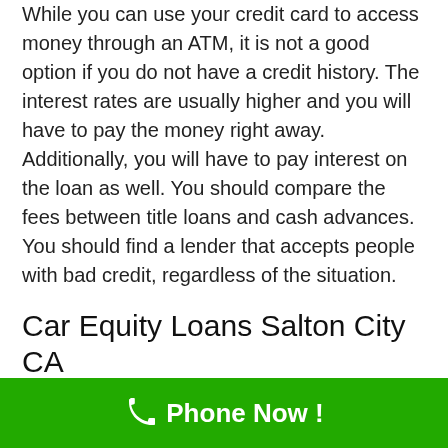While you can use your credit card to access money through an ATM, it is not a good option if you do not have a credit history. The interest rates are usually higher and you will have to pay the money right away. Additionally, you will have to pay interest on the loan as well. You should compare the fees between title loans and cash advances. You should find a lender that accepts people with bad credit, regardless of the situation.
Car Equity Loans Salton City CA
Customers can apply for a title loan without leaving their homes. A title loan in Salton City is simple to...
[Figure (infographic): Green call-to-action bar at bottom with phone icon and text 'Phone Now !']